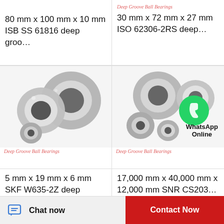80 mm x 100 mm x 10 mm ISB SS 61816 deep groo…
Deep Groove Ball Bearings
30 mm x 72 mm x 27 mm ISO 62306-2RS deep…
[Figure (photo): Deep groove ball bearings - multiple sizes showing metal ball bearings with shields]
Deep Groove Ball Bearings
[Figure (photo): Deep groove ball bearings set with WhatsApp Online overlay]
Deep Groove Ball Bearings
5 mm x 19 mm x 6 mm SKF W635-2Z deep groo…
17,000 mm x 40,000 mm x 12,000 mm SNR CS203…
Chat now
Contact Now